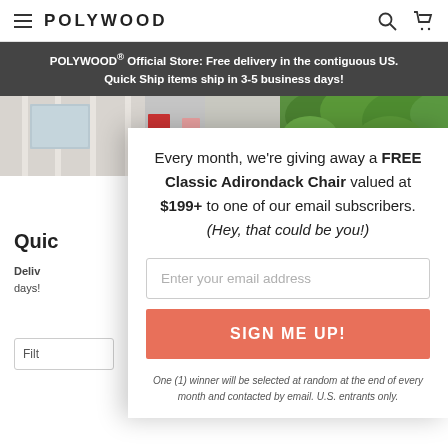POLYWOOD
POLYWOOD® Official Store: Free delivery in the contiguous US. Quick Ship items ship in 3-5 business days!
[Figure (photo): Hero image showing outdoor furniture including a red Adirondack chair against a white fence with green foliage in background]
Quic
Deliv days!
Every month, we're giving away a FREE Classic Adirondack Chair valued at $199+ to one of our email subscribers. (Hey, that could be you!)
Enter your email address
SIGN ME UP!
One (1) winner will be selected at random at the end of every month and contacted by email. U.S. entrants only.
Filt